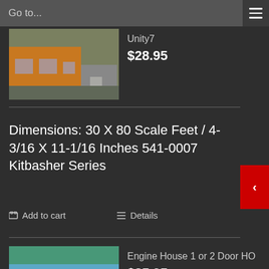Go to...
[Figure (photo): Partial product image of a model building (orange/brown warehouse), top of page]
Unity7
$28.95
Dimensions: 30 X 80 Scale Feet / 4-3/16 X 11-1/16 Inches 541-0007 Kitbasher Series
Add to cart
Details
[Figure (photo): Product image of a blue Engine House model building with train]
Engine House 1 or 2 Door HO
$25.95